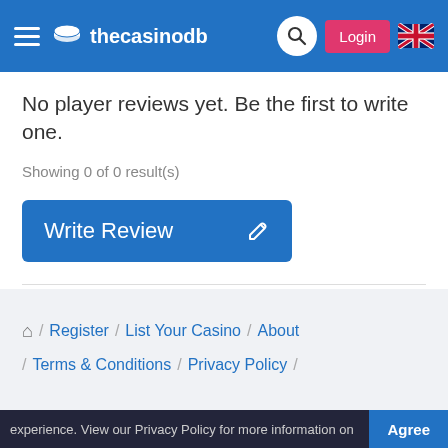thecasinodb
No player reviews yet. Be the first to write one.
Showing 0 of 0 result(s)
Write Review
Home / Register / List Your Casino / About / Terms & Conditions / Privacy Policy / Copyright © 2019 TheCasinoDB.com. All Rights Reserved.
experience. View our Privacy Policy for more information on   Agree